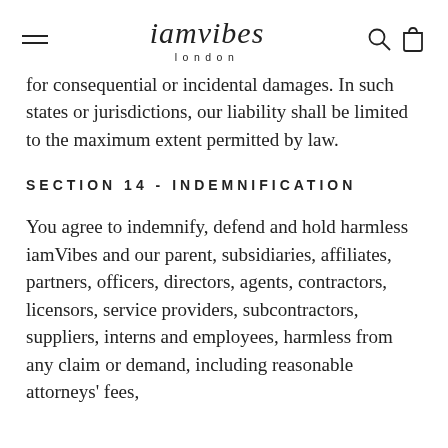iamvibes london
for consequential or incidental damages. In such states or jurisdictions, our liability shall be limited to the maximum extent permitted by law.
SECTION 14 - INDEMNIFICATION
You agree to indemnify, defend and hold harmless iamVibes and our parent, subsidiaries, affiliates, partners, officers, directors, agents, contractors, licensors, service providers, subcontractors, suppliers, interns and employees, harmless from any claim or demand, including reasonable attorneys' fees,